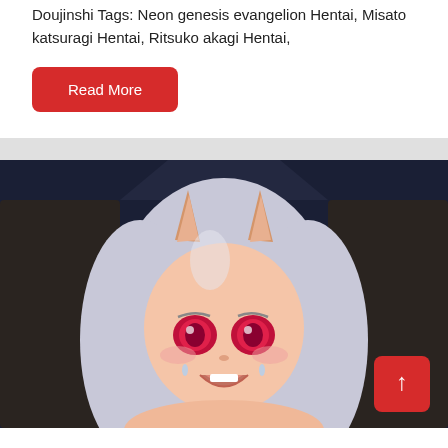Doujinshi Tags: Neon genesis evangelion Hentai, Misato katsuragi Hentai, Ritsuko akagi Hentai,
Read More
[Figure (illustration): Anime-style illustration of a white-haired girl with demon horns, pink/red eyes, open mouth expression, wearing minimal clothing, dark background with a dark-suited figure behind her. A red scroll-to-top button is visible in the bottom right corner.]